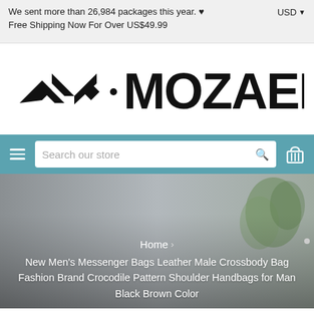We sent more than 26,984 packages this year. ♥ Free Shipping Now For Over US$49.99
USD
[Figure (logo): MOZAER brand logo with geometric chevron/arrow icon on the left and bold text '.MOZAER' on the right]
Search our store
Home › New Men's Messenger Bags Leather Male Crossbody Bag Fashion Brand Crocodile Pattern Shoulder Handbags for Man Black Brown Color